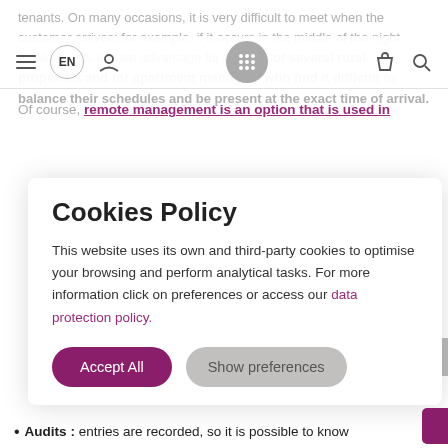tenants. On many occasions, it is very difficult to meet when the customer arrives; for example, if it occurs in the middle of the night. Similarly, it is a great advantage for owners of several rural properties and for apartment managers who find it difficult to balance their schedules and be present at the exact time of arrival.
Of course, remote management is an option that is used in
Cookies Policy
This website uses its own and third-party cookies to optimise your browsing and perform analytical tasks. For more information click on preferences or access our data protection policy.
Accept All
Show preferences
Audits : entries are recorded, so it is possible to know